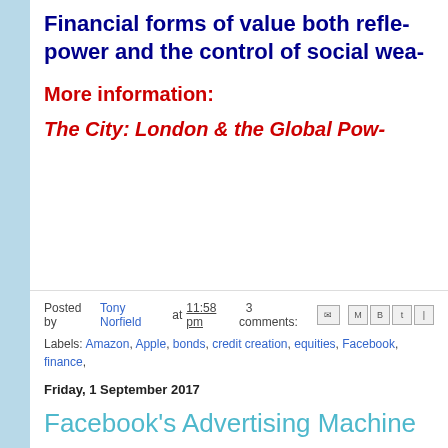Financial forms of value both refle- power and the control of social wea-
More information:
The City: London & the Global Pow-
Posted by Tony Norfield at 11:58 pm   3 comments:
Labels: Amazon, Apple, bonds, credit creation, equities, Facebook, finance, Monopoly, value theory
Friday, 1 September 2017
Facebook's Advertising Machine